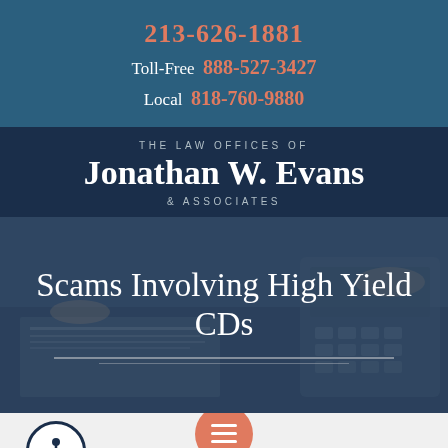213-626-1881
Toll-Free 888-527-3427
Local 818-760-9880
THE LAW OFFICES OF Jonathan W. Evans & ASSOCIATES
[Figure (photo): Background photo of a desk with documents and a calculator/phone, overlaid with dark blue tint. Text overlay reads 'Scams Involving High Yield CDs' with decorative horizontal lines below.]
Scams Involving High Yield CDs
[Figure (infographic): Bottom bar with accessibility icon (person in circle) on left, orange hamburger menu button in center, and partially visible text 'SCAMS INVO...NG HIGH' at bottom in large dark letters.]